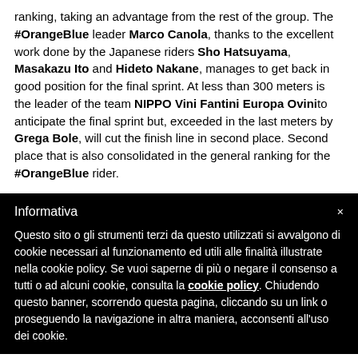ranking, taking an advantage from the rest of the group. The #OrangeBlue leader Marco Canola, thanks to the excellent work done by the Japanese riders Sho Hatsuyama, Masakazu Ito and Hideto Nakane, manages to get back in good position for the final sprint. At less than 300 meters is the leader of the team NIPPO Vini Fantini Europa Ovini to anticipate the final sprint but, exceeded in the last meters by Grega Bole, will cut the finish line in second place. Second place that is also consolidated in the general ranking for the #OrangeBlue rider.
Informativa
Questo sito o gli strumenti terzi da questo utilizzati si avvalgono di cookie necessari al funzionamento ed utili alle finalità illustrate nella cookie policy. Se vuoi saperne di più o negare il consenso a tutti o ad alcuni cookie, consulta la cookie policy. Chiudendo questo banner, scorrendo questa pagina, cliccando su un link o proseguendo la navigazione in altra maniera, acconsenti all'uso dei cookie.